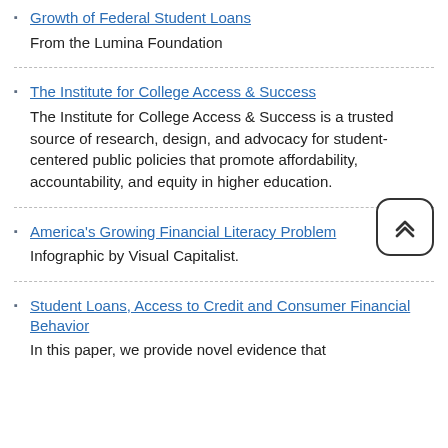From the Lumina Foundation
The Institute for College Access & Success
The Institute for College Access & Success is a trusted source of research, design, and advocacy for student-centered public policies that promote affordability, accountability, and equity in higher education.
America's Growing Financial Literacy Problem
Infographic by Visual Capitalist.
Student Loans, Access to Credit and Consumer Financial Behavior
In this paper, we provide novel evidence that